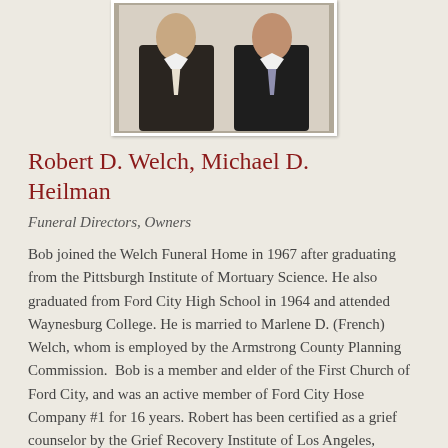[Figure (photo): Portrait photo of two men in dark suits standing together]
Robert D. Welch, Michael D. Heilman
Funeral Directors, Owners
Bob joined the Welch Funeral Home in 1967 after graduating from the Pittsburgh Institute of Mortuary Science. He also graduated from Ford City High School in 1964 and attended Waynesburg College. He is married to Marlene D. (French) Welch, whom is employed by the Armstrong County Planning Commission.  Bob is a member and elder of the First Church of Ford City, and was an active member of Ford City Hose Company #1 for 16 years. Robert has been certified as a grief counselor by the Grief Recovery Institute of Los Angeles, California.